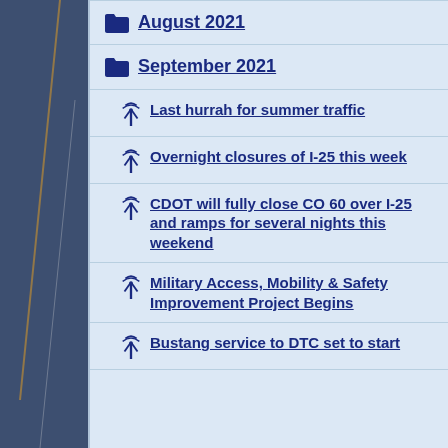August 2021
September 2021
Last hurrah for summer traffic
Overnight closures of I-25 this week
CDOT will fully close CO 60 over I-25 and ramps for several nights this weekend
Military Access, Mobility & Safety Improvement Project Begins
Bustang service to DTC set to start